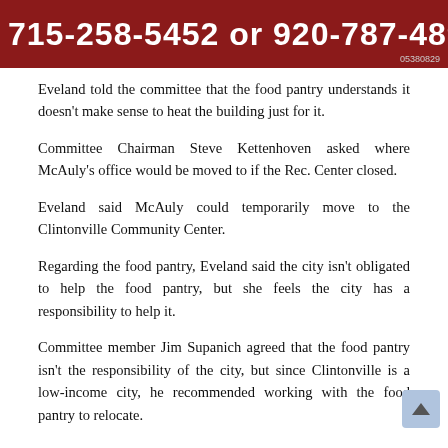[Figure (other): Red banner with white bold text showing phone numbers: 715-258-5452 or 920-787-4898, with small code 05380829 in bottom right]
Eveland told the committee that the food pantry understands it doesn't make sense to heat the building just for it.
Committee Chairman Steve Kettenhoven asked where McAuly's office would be moved to if the Rec. Center closed.
Eveland said McAuly could temporarily move to the Clintonville Community Center.
Regarding the food pantry, Eveland said the city isn't obligated to help the food pantry, but she feels the city has a responsibility to help it.
Committee member Jim Supanich agreed that the food pantry isn't the responsibility of the city, but since Clintonville is a low-income city, he recommended working with the food pantry to relocate.